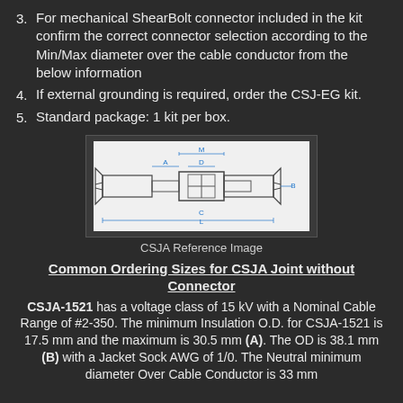3. For mechanical ShearBolt connector included in the kit confirm the correct connector selection according to the Min/Max diameter over the cable conductor from the below information
4. If external grounding is required, order the CSJ-EG kit.
5. Standard package: 1 kit per box.
[Figure (engineering-diagram): CSJA connector schematic diagram showing cross-section with labeled dimensions M, A, D, C, L, B]
CSJA Reference Image
Common Ordering Sizes for CSJA Joint without Connector
CSJA-1521 has a voltage class of 15 kV with a Nominal Cable Range of #2-350. The minimum Insulation O.D. for CSJA-1521 is 17.5 mm and the maximum is 30.5 mm (A). The OD is 38.1 mm (B) with a Jacket Sock AWG of 1/0. The Neutral minimum diameter Over Cable Conductor is 33 mm